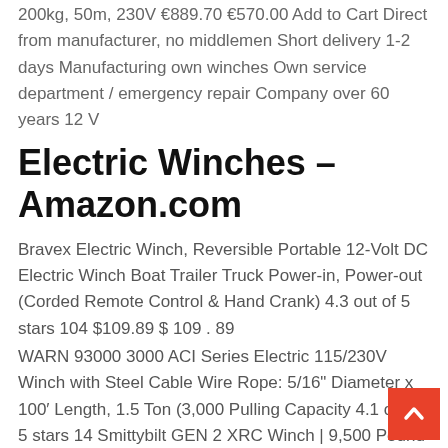200kg, 50m, 230V €889.70 €570.00 Add to Cart Direct from manufacturer, no middlemen Short delivery 1-2 days Manufacturing own winches Own service department / emergency repair Company over 60 years 12 V
Electric Winches – Amazon.com
Bravex Electric Winch, Reversible Portable 12-Volt DC Electric Winch Boat Trailer Truck Power-in, Power-out (Corded Remote Control & Hand Crank) 4.3 out of 5 stars 104 $109.89 $ 109 . 89
WARN 93000 3000 ACI Series Electric 115/230V Winch with Steel Cable Wire Rope: 5/16" Diameter x 100′ Length, 1.5 Ton (3,000 Pulling Capacity 4.1 out of 5 stars 14 Smittybilt GEN 2 XRC Winch | 9,500 Pound Load Capacity